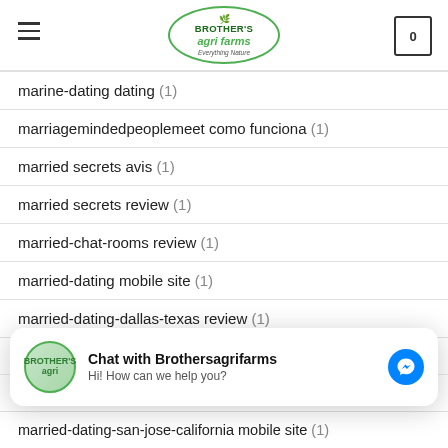Brother's Agri Farms — Everything Nature
marine-dating dating (1)
marriagemindedpeoplemeet como funciona (1)
married secrets avis (1)
married secrets review (1)
married-chat-rooms review (1)
married-dating mobile site (1)
married-dating-dallas-texas review (1)
married-dating-new-york-ny mobile site (1)
[Figure (other): Facebook Messenger chat widget: Chat with Brothersagrifarms — Hi! How can we help you?]
married-dating-san-jose-california mobile site (1)